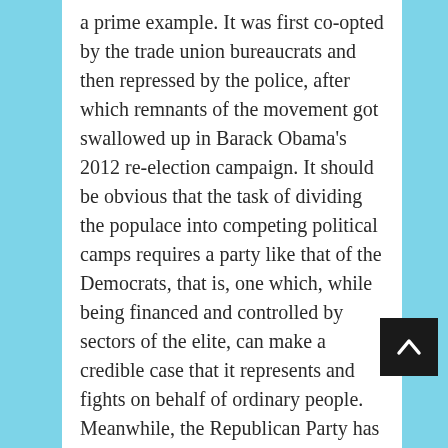a prime example. It was first co-opted by the trade union bureaucrats and then repressed by the police, after which remnants of the movement got swallowed up in Barack Obama's 2012 re-election campaign. It should be obvious that the task of dividing the populace into competing political camps requires a party like that of the Democrats, that is, one which, while being financed and controlled by sectors of the elite, can make a credible case that it represents and fights on behalf of ordinary people. Meanwhile, the Republican Party has played a comparable role on the other side of the political spectrum, which is one of the reasons why, unlike in the parliamentary systems of continental Europe, a distinct,